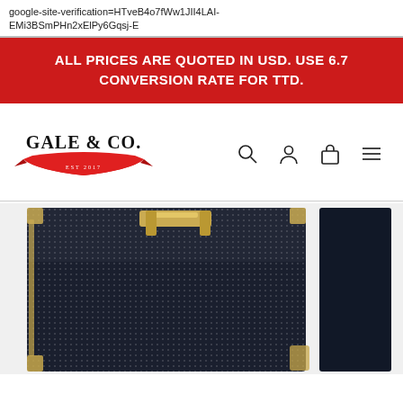google-site-verification=HTveB4o7fWw1JII4LAI-EMi3BSmPHn2xElPy6Gqsj-E
ALL PRICES ARE QUOTED IN USD. USE 6.7 CONVERSION RATE FOR TTD.
[Figure (logo): Gale & Co. logo with red ribbon and text, EST 2017]
[Figure (photo): Dark navy/black textured clipboard binder with gold hardware accents]